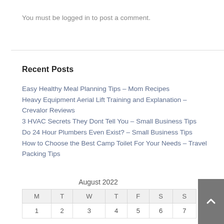You must be logged in to post a comment.
Recent Posts
Easy Healthy Meal Planning Tips – Mom Recipes
Heavy Equipment Aerial Lift Training and Explanation – Crevalor Reviews
3 HVAC Secrets They Dont Tell You – Small Business Tips
Do 24 Hour Plumbers Even Exist? – Small Business Tips
How to Choose the Best Camp Toilet For Your Needs – Travel Packing Tips
| M | T | W | T | F | S | S |
| --- | --- | --- | --- | --- | --- | --- |
| 1 | 2 | 3 | 4 | 5 | 6 | 7 |